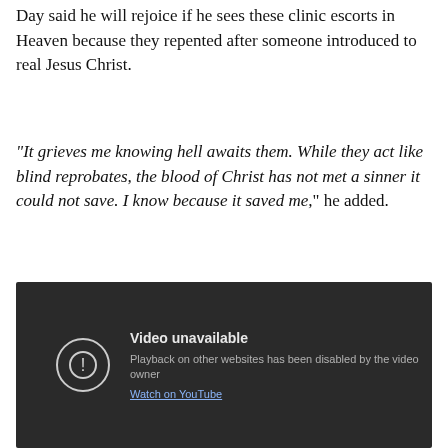Day said he will rejoice if he sees these clinic escorts in Heaven because they repented after someone introduced to real Jesus Christ.
“It grieves me knowing hell awaits them. While they act like blind reprobates, the blood of Christ has not met a sinner it could not save. I know because it saved me,” he added.
[Figure (screenshot): YouTube video unavailable embed showing dark background with exclamation icon, text 'Video unavailable', 'Playback on other websites has been disabled by the video owner', and 'Watch on YouTube' link.]